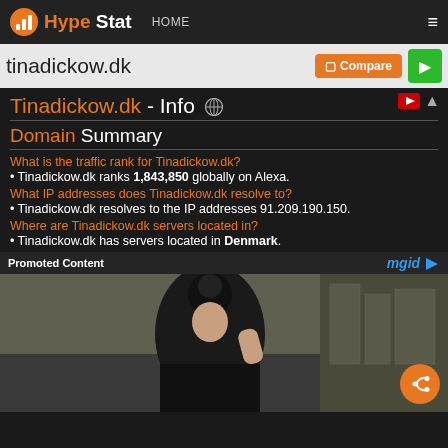HypeStat HOME ≡
tinadickow.dk  Compare ▶
Tinadickow.dk - Info 🌐
Domain Summary
What is the traffic rank for Tinadickow.dk?
• Tinadickow.dk ranks 1,843,850 globally on Alexa.
What IP addresses does Tinadickow.dk resolve to?
• Tinadickow.dk resolves to the IP addresses 91.209.190.150.
Where are Tinadickow.dk servers located in?
• Tinadickow.dk has servers located in Denmark.
Promoted Content
[Figure (photo): Advertisement image showing a woman in a black outfit]